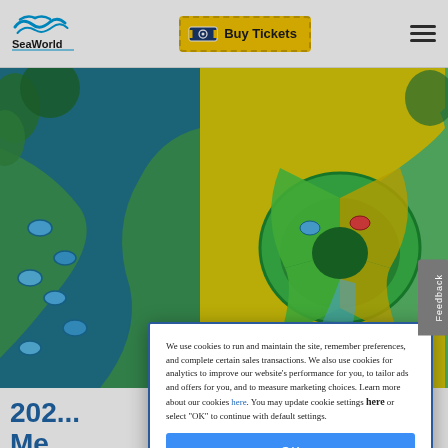SeaWorld | Buy Tickets
[Figure (photo): Aerial view of a water park showing a lazy river with blue tubes on the left and a large green and yellow funnel water slide on the right, with tropical greenery surrounding it.]
We use cookies to run and maintain the site, remember preferences, and complete certain sales transactions. We also use cookies for analytics to improve our website's performance for you, to tailor ads and offers for you, and to measure marketing choices. Learn more about our cookies here. You may update cookie settings here or select "OK" to continue with default settings.
OK
202... Me...
July 2...
Bring ... air!
Aqua...
[Figure (photo): Partial bottom image showing water park attraction, partially cut off at bottom of page.]